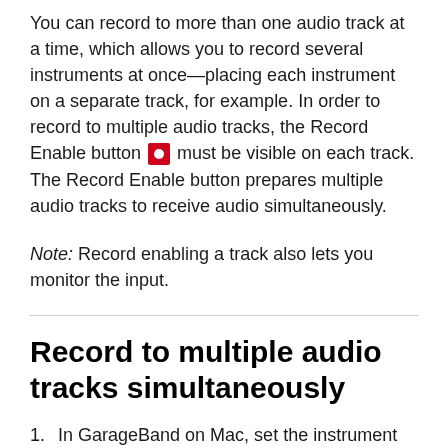You can record to more than one audio track at a time, which allows you to record several instruments at once—placing each instrument on a separate track, for example. In order to record to multiple audio tracks, the Record Enable button [icon] must be visible on each track. The Record Enable button prepares multiple audio tracks to receive audio simultaneously.
Note: Record enabling a track also lets you monitor the input.
Record to multiple audio tracks simultaneously
1. In GarageBand on Mac, set the instrument or...